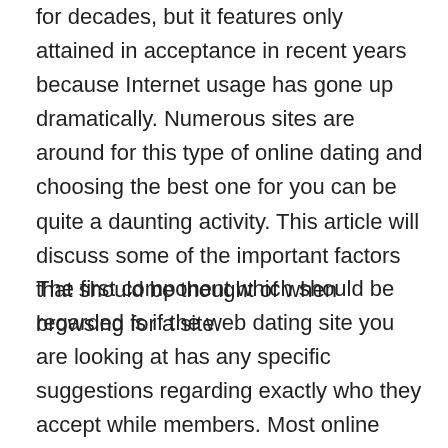for decades, but it features only attained in acceptance in recent years because Internet usage has gone up dramatically. Numerous sites are around for this type of online dating and choosing the best one for you can be quite a daunting activity. This article will discuss some of the important factors that should be thought of when browsing for a site.
The first component which should be regarded is if the web dating site you are looking at has any specific suggestions regarding exactly who they accept while members. Most online dating sites carry out have some sort of screening method, and you should look at terms and conditions of any site you are interested in enrolling in before this. If you will discover not any stipulations outlined then simply this